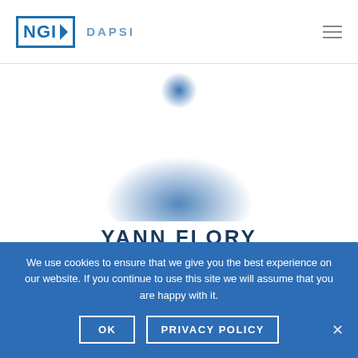NGI DAPSI
[Figure (illustration): Blurred silhouette of a person shown as a blue gradient blob on white background, serving as a profile photo placeholder.]
YANN FLORY
Platform Core Developer
We use cookies to ensure that we give you the best experience on our website. If you continue to use this site we will assume that you are happy with it.
OK   PRIVACY POLICY